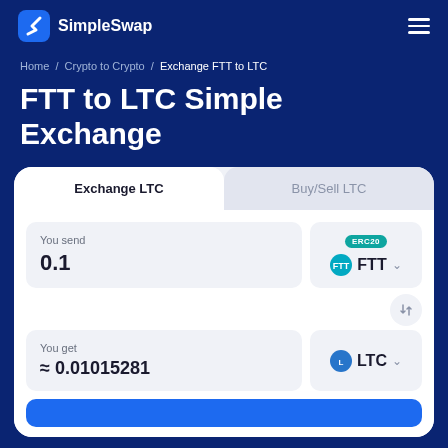SimpleSwap
Home / Crypto to Crypto / Exchange FTT to LTC
FTT to LTC Simple Exchange
Exchange LTC | Buy/Sell LTC
You send
0.1
ERC20 FTT
You get
≈ 0.01015281
LTC